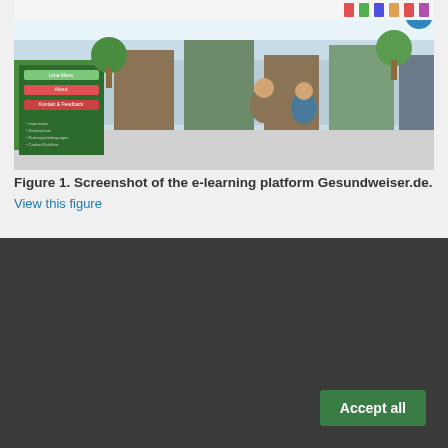[Figure (screenshot): Screenshot of the e-learning platform Gesundweiser.de showing a stylized town scene with cartoon characters and a menu with navigation items]
Figure 1. Screenshot of the e-learning platform Gesundweiser.de.
View this figure
[Figure (screenshot): Browser screenshot showing Gesundweiser – spielend.digital.kompetent. website header]
Cookie Consent
We use our own cookies and third-party cookies so that we can show you this website and better understand how you use it, with a view to improving the services we offer. If you continue browsing, we consider that you have accepted the cookies.